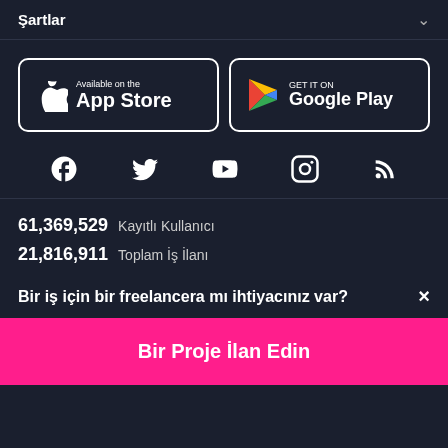Şartlar
[Figure (logo): App Store download button with Apple logo]
[Figure (logo): Google Play download button with Play logo]
[Figure (infographic): Social media icons row: Facebook, Twitter, YouTube, Instagram, RSS]
61,369,529  Kayıtlı Kullanıcı
21,816,911  Toplam İş İlanı
Bir iş için bir freelancera mı ihtiyacınız var?  ×
Bir Proje İlan Edin